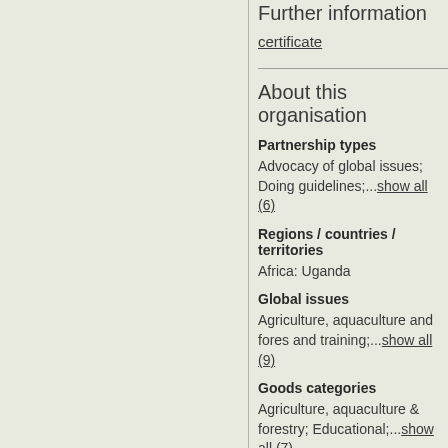Further information
certificate
About this organisation
Partnership types
Advocacy of global issues; Doing guidelines;...show all (6)
Regions / countries / territories
Africa: Uganda
Global issues
Agriculture, aquaculture and forestry; and training;...show all (9)
Goods categories
Agriculture, aquaculture & forestry; Educational;...show all (7)
Business sectors
Agriculture and livestock; Aquaculture; Construction;...show all (6)